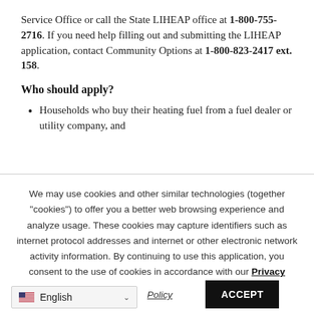Service Office or call the State LIHEAP office at 1-800-755-2716. If you need help filling out and submitting the LIHEAP application, contact Community Options at 1-800-823-2417 ext. 158.
Who should apply?
Households who buy their heating fuel from a fuel dealer or utility company, and
We may use cookies and other similar technologies (together "cookies") to offer you a better web browsing experience and analyze usage. These cookies may capture identifiers such as internet protocol addresses and internet or other electronic network activity information. By continuing to use this application, you consent to the use of cookies in accordance with our Privacy Policy
English
ACCEPT